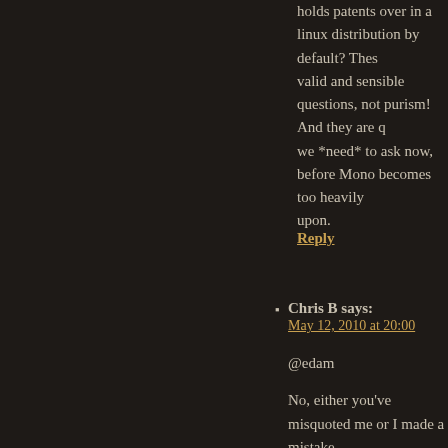holds patents over in a linux distribution by default? These are valid and sensible questions, not purism! And they are questions we *need* to ask now, before Mono becomes too heavily relied upon.
Reply
Chris B says:
May 12, 2010 at 20:00
@edam

No, either you've misquoted me or I made a mistake posted at 1am.
Repository doesn't mean I need to get source. And package manager doesn't mean I need to find source and compile. If you'll read above, I believe I mentioned (or on another forum, too lazy to check) that I tried package managers and they were pathetic. Software was so old it was pathetic, talking 5 versions or more for some, literally years since it had been updated. How is that useful? Say Mono changes to keep up with the C# official spec, but the package managers aren't updated, so they don't compile properly, the code won't work.